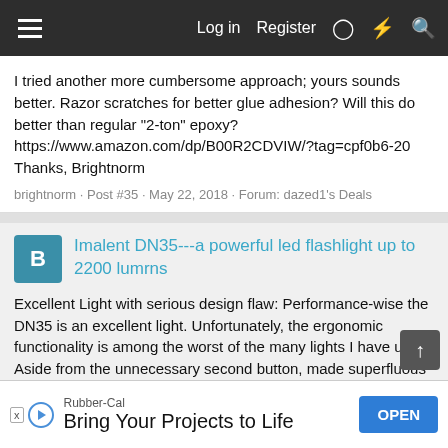Log in  Register
I tried another more cumbersome approach; yours sounds better. Razor scratches for better glue adhesion? Will this do better than regular "2-ton" epoxy? https://www.amazon.com/dp/B00R2CDVIW/?tag=cpf0b6-20 Thanks, Brightnorm
brightnorm · Post #35 · May 22, 2018 · Forum: dazed1's Deals
Imalent DN35---a powerful led flashlight up to 2200 lumrns
Excellent Light with serious design flaw: Performance-wise the DN35 is an excellent light. Unfortunately, the ergonomic functionality is among the worst of the many lights I have used. Aside from the unnecessary second button, made superfluous by superior single button de...
Rubber-Cal
Bring Your Projects to Life